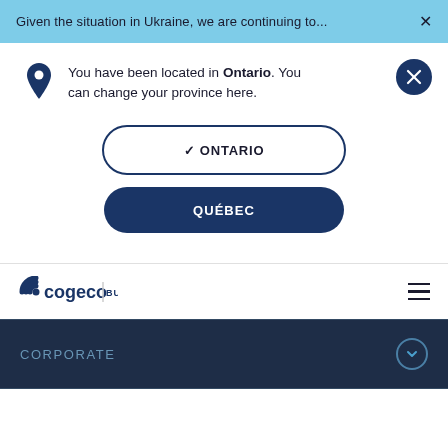Given the situation in Ukraine, we are continuing to...
You have been located in Ontario. You can change your province here.
✓ ONTARIO
QUÉBEC
[Figure (logo): Cogeco Business logo with concentric arcs icon]
CORPORATE